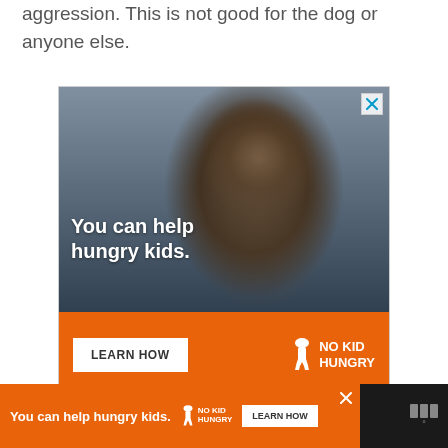aggression. This is not good for the dog or anyone else.
[Figure (photo): Advertisement banner for No Kid Hungry showing a young child eating, with text 'You can help hungry kids.' and a 'LEARN HOW' button on an orange bar with the No Kid Hungry logo]
[Figure (photo): Bottom sticky advertisement banner for No Kid Hungry on dark background, with orange section containing 'You can help hungry kids.', No Kid Hungry logo, and 'LEARN HOW' button]